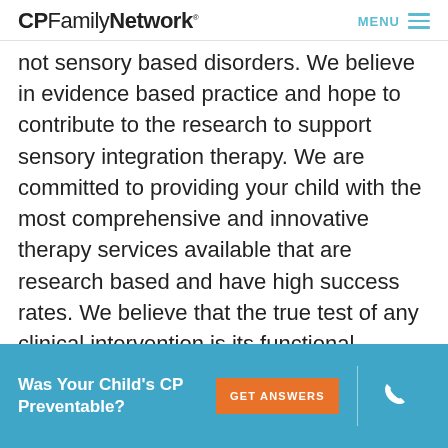CP Family Network | MENU
not sensory based disorders.  We believe in evidence based practice and hope to contribute to the research to support sensory integration therapy.  We are committed to providing your child with the most comprehensive and innovative therapy services available that are research based and have high success rates. We believe that the true test of any clinical intervention is its functional outcome and measurable success. We offer a full service sensory gym and specialized treatment programs. We provide the following: Clinical Occupational Therapy Services;
Was Your Child's CP Preventable?
GET ANSWERS